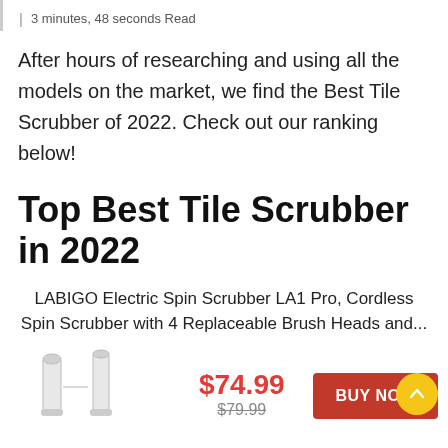| 3 minutes, 48 seconds Read
After hours of researching and using all the models on the market, we find the Best Tile Scrubber of 2022. Check out our ranking below!
Top Best Tile Scrubber in 2022
LABIGO Electric Spin Scrubber LA1 Pro, Cordless Spin Scrubber with 4 Replaceable Brush Heads and...
[Figure (photo): Product image of LABIGO Electric Spin Scrubber]
$74.99
$79.99 (strikethrough)
BUY NOW